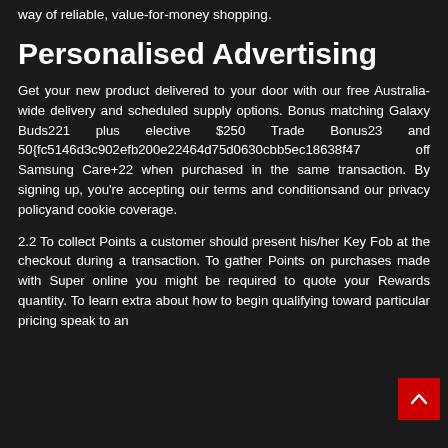way of reliable, value-for-money shopping.
Personalised Advertising
Get your new product delivered to your door with our free Australia-wide delivery and scheduled supply options. Bonus matching Galaxy Buds221 plus elective $250 Trade Bonus23 and 50{fc5146d3c902efb200e22464d75d0630cbb5ec18638f47 off Samsung Care+22 when purchased in the same transaction. By signing up, you're accepting our terms and conditionsand our privacy policyand cookie coverage.
2.2 To collect Points a customer should present his/her Key Fob at the checkout during a transaction. To gather Points on purchases made with Super online you might be required to quote your Rewards quantity. To learn extra about how to begin qualifying toward particular pricing speak to an